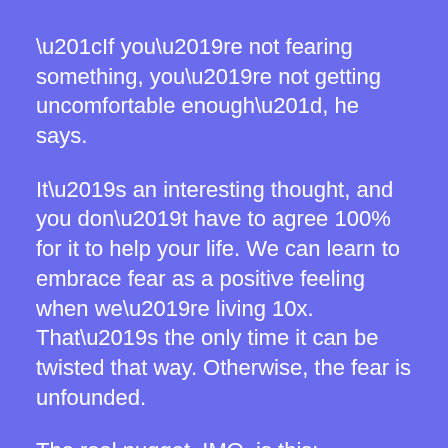“If you’re not fearing something, you’re not getting uncomfortable enough”, he says.
It’s an interesting thought, and you don’t have to agree 100% for it to help your life. We can learn to embrace fear as a positive feeling when we’re living 10x. That’s the only time it can be twisted that way. Otherwise, the fear is unfounded.
The real nugget, IMO, is this:
We can use fear to catapult action, by removing time from fear.
In other words, the sooner you face something...